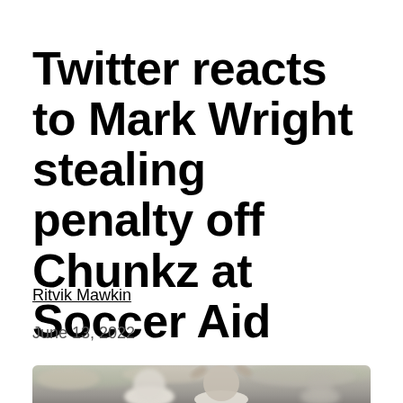Twitter reacts to Mark Wright stealing penalty off Chunkz at Soccer Aid
Ritvik Mawkin
June 13, 2022
[Figure (photo): Two football players in white shirts on a pitch, one with arms raised, crowd blurred in background, taken at Soccer Aid 2022]